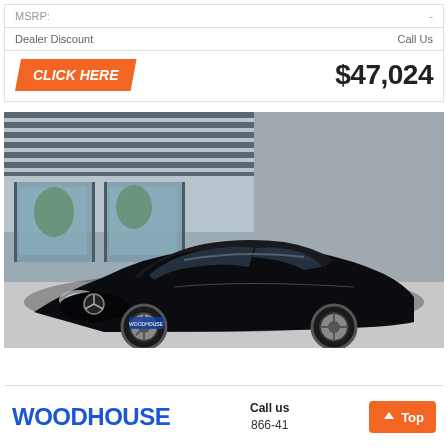| Label | Value |
| --- | --- |
| MSRP: | - |
| Dealer Discount | Call Us |
| CLICK HERE | $47,024 |
[Figure (photo): Black Mercedes-Benz C-Class coupe parked in front of a dealership building with large glass windows and a dark grey facade. Trees visible in background.]
WOODHOUSE
Call us
866-41...
Top